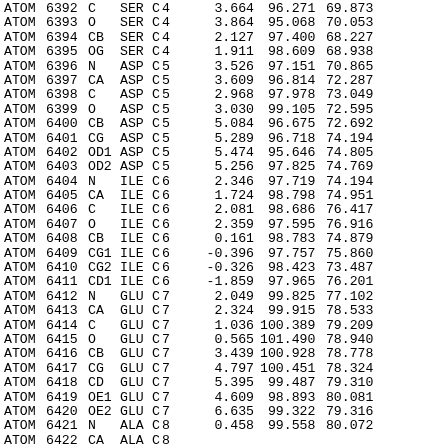|  |  |  |  |  |  |  |  |  |
| --- | --- | --- | --- | --- | --- | --- | --- | --- |
| ATOM | 6392 | C | SER | C | 4 | 3.664 | 96.271 | 69.873 |
| ATOM | 6393 | O | SER | C | 4 | 3.864 | 95.068 | 70.053 |
| ATOM | 6394 | CB | SER | C | 4 | 2.127 | 97.400 | 68.227 |
| ATOM | 6395 | OG | SER | C | 4 | 1.911 | 98.609 | 68.938 |
| ATOM | 6396 | N | ASP | C | 5 | 3.526 | 97.151 | 70.865 |
| ATOM | 6397 | CA | ASP | C | 5 | 3.609 | 96.814 | 72.287 |
| ATOM | 6398 | C | ASP | C | 5 | 2.968 | 97.978 | 73.049 |
| ATOM | 6399 | O | ASP | C | 5 | 3.030 | 99.105 | 72.595 |
| ATOM | 6400 | CB | ASP | C | 5 | 5.084 | 96.675 | 72.692 |
| ATOM | 6401 | CG | ASP | C | 5 | 5.289 | 96.718 | 74.194 |
| ATOM | 6402 | OD1 | ASP | C | 5 | 5.474 | 95.646 | 74.805 |
| ATOM | 6403 | OD2 | ASP | C | 5 | 5.256 | 97.825 | 74.769 |
| ATOM | 6404 | N | ILE | C | 6 | 2.346 | 97.719 | 74.194 |
| ATOM | 6405 | CA | ILE | C | 6 | 1.724 | 98.798 | 74.951 |
| ATOM | 6406 | C | ILE | C | 6 | 2.081 | 98.686 | 76.417 |
| ATOM | 6407 | O | ILE | C | 6 | 2.359 | 97.595 | 76.916 |
| ATOM | 6408 | CB | ILE | C | 6 | 0.161 | 98.783 | 74.879 |
| ATOM | 6409 | CG1 | ILE | C | 6 | -0.396 | 97.757 | 75.860 |
| ATOM | 6410 | CG2 | ILE | C | 6 | -0.326 | 98.423 | 73.487 |
| ATOM | 6411 | CD1 | ILE | C | 6 | -1.859 | 97.965 | 76.201 |
| ATOM | 6412 | N | GLU | C | 7 | 2.049 | 99.825 | 77.102 |
| ATOM | 6413 | CA | GLU | C | 7 | 2.324 | 99.915 | 78.533 |
| ATOM | 6414 | C | GLU | C | 7 | 1.036 | 100.389 | 79.209 |
| ATOM | 6415 | O | GLU | C | 7 | 0.565 | 101.490 | 78.940 |
| ATOM | 6416 | CB | GLU | C | 7 | 3.439 | 100.928 | 78.778 |
| ATOM | 6417 | CG | GLU | C | 7 | 4.797 | 100.451 | 78.324 |
| ATOM | 6418 | CD | GLU | C | 7 | 5.395 | 99.487 | 79.310 |
| ATOM | 6419 | OE1 | GLU | C | 7 | 4.609 | 98.893 | 80.081 |
| ATOM | 6420 | OE2 | GLU | C | 7 | 6.635 | 99.322 | 79.316 |
| ATOM | 6421 | N | ALA | C | 8 | 0.458 | 99.558 | 80.072 |
| ATOM | 6422 | CA | ALA | C | 8 |  |  |  |